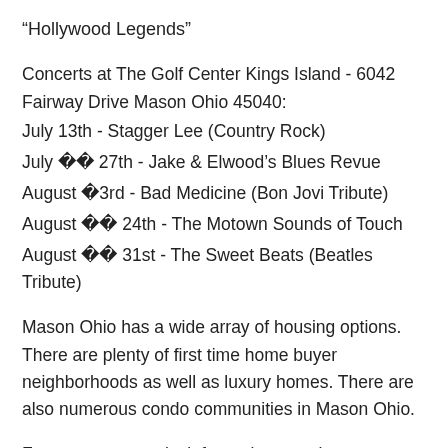“Hollywood Legends”
Concerts at The Golf Center Kings Island - 6042 Fairway Drive Mason Ohio 45040:
July 13th - Stagger Lee (Country Rock)
July �� 27th - Jake & Elwood’s Blues Revue
August �3rd - Bad Medicine (Bon Jovi Tribute)
August �� 24th - The Motown Sounds of Touch
August �� 31st - The Sweet Beats (Beatles Tribute)
Mason Ohio has a wide array of housing options. There are plenty of first time home buyer neighborhoods as well as luxury homes. There are also numerous condo communities in Mason Ohio.
For more community information or to learn more about the